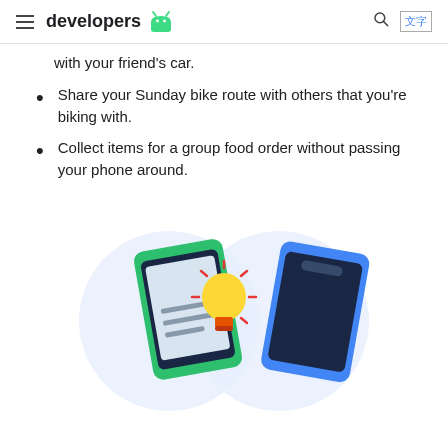developers [android logo]
with your friend's car.
Share your Sunday bike route with others that you're biking with.
Collect items for a group food order without passing your phone around.
[Figure (illustration): Two smartphones with overlapping light blue circles between them, a light bulb icon in the center overlap area. Left phone has green border with a document icon, right phone is blue.]